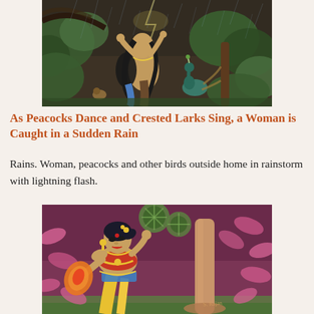[Figure (illustration): Indian painting depicting a woman caught in rain with peacocks and other birds outside, dark stormy scene with green trees and lightning effect]
As Peacocks Dance and Crested Larks Sing, a Woman is Caught in a Sudden Rain
Rains. Woman, peacocks and other birds outside home in rainstorm with lightning flash.
[Figure (illustration): Colourful Indian painting of an adorned woman looking upward near a tree, with pink oval shapes and stylized green foliage against a purple/maroon background, signed by artist]